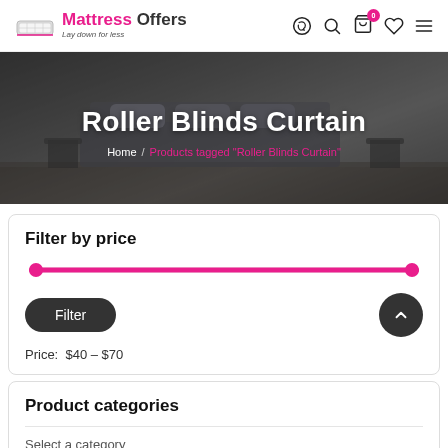[Figure (logo): Mattress Offers logo with mattress icon and tagline 'Lay down for less']
Mattress Offers — Lay down for less | Navigation icons: WhatsApp, Search, Cart (0), Wishlist, Menu
[Figure (photo): Hero banner with bedroom/sofa background image, darkened overlay]
Roller Blinds Curtain
Home / Products tagged "Roller Blinds Curtain"
Filter by price
Filter
Price:  $40 – $70
Product categories